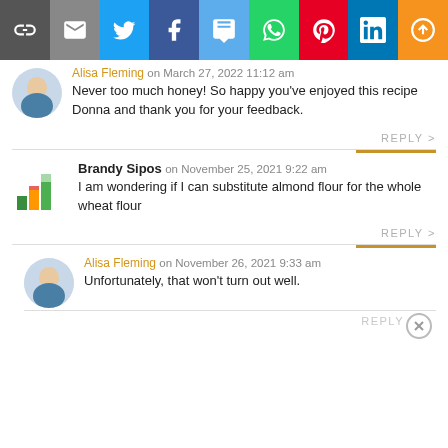[Figure (other): Social sharing toolbar with icons: link, email, Twitter, Facebook, SMS, WhatsApp, Pinterest, LinkedIn, More]
Alisa Fleming on March 27, 2022 11:12 am
Never too much honey! So happy you’ve enjoyed this recipe Donna and thank you for your feedback.
REPLY >
Brandy Sipos on November 25, 2021 9:22 am
I am wondering if I can substitute almond flour for the whole wheat flour
REPLY >
Alisa Fleming on November 26, 2021 9:33 am
Unfortunately, that won’t turn out well.
REPLY >